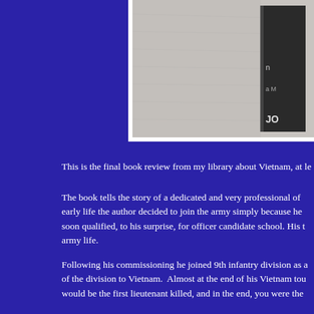[Figure (photo): Partial view of a book cover against a grey/textured background, showing partial text including 'JO' visible on the right side. The image is cropped and positioned at the top-right of the page.]
This is the final book review from my library about Vietnam, at le
The book tells the story of a dedicated and very professional of early life the author decided to join the army simply because he soon qualified, to his surprise, for officer candidate school. His t army life.
Following his commissioning he joined 9th infantry division as a of the division to Vietnam.  Almost at the end of his Vietnam tou would be the first lieutenant killed, and in the end, you were the
The author became the consummate soldier and officer as reco served as an advisor with the Royal Thai Army on its deployme a long and distinguished military career. However he became v Issue after over four years service.